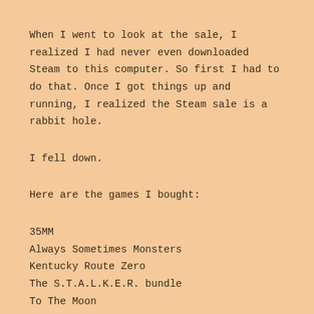When I went to look at the sale, I realized I had never even downloaded Steam to this computer. So first I had to do that. Once I got things up and running, I realized the Steam sale is a rabbit hole.
I fell down.
Here are the games I bought:
35MM
Always Sometimes Monsters
Kentucky Route Zero
The S.T.A.L.K.E.R. bundle
To The Moon
I had no prior knowledge of 35MM, but it looked interesting so I thought I'd give it a chance. I'd